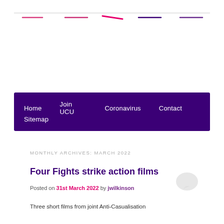[Figure (other): Decorative header navigation lines in pink, magenta, dark purple colors above the website header]
[Figure (other): Navigation bar with dark purple background containing menu items: Home, Join UCU, Coronavirus, Contact, Sitemap]
MONTHLY ARCHIVES: MARCH 2022
Four Fights strike action films
Posted on 31st March 2022 by jwilkinson
Three short films from joint Anti-Casualisation